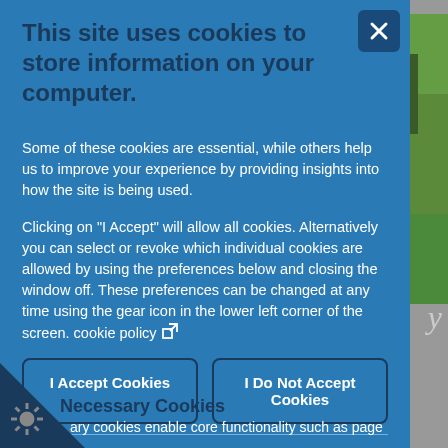This site uses cookies to store information on your computer.
Some of these cookies are essential, while others help us to improve your experience by providing insights into how the site is being used.
Clicking on "I Accept" will allow all cookies. Alternatively you can select or revoke which individual cookies are allowed by using the preferences below and closing the window off. These preferences can be changed at any time using the gear icon in the lower left corner of the screen. cookie policy
I Accept Cookies
I Do Not Accept Cookies
Necessary Cookies
ary cookies enable core functionality such as page